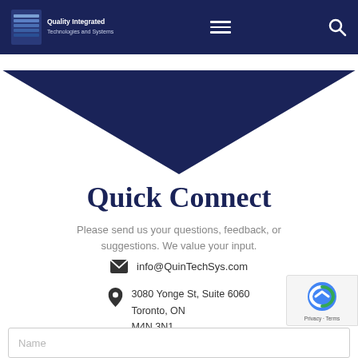Quality Integrated Technologies and Systems
[Figure (illustration): Dark navy chevron/arrow banner pointing downward in the center, decorative header graphic]
Quick Connect
Please send us your questions, feedback, or suggestions. We value your input.
info@QuinTechSys.com
3080 Yonge St, Suite 6060
Toronto, ON
M4N 3N1
Name